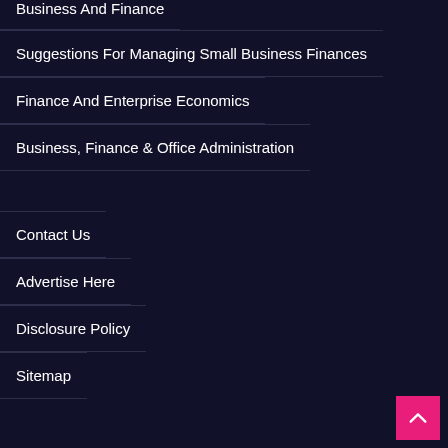Business And Finance
Suggestions For Managing Small Business Finances
Finance And Enterprise Economics
Business, Finance & Office Administration
Contact Us
Advertise Here
Disclosure Policy
Sitemap